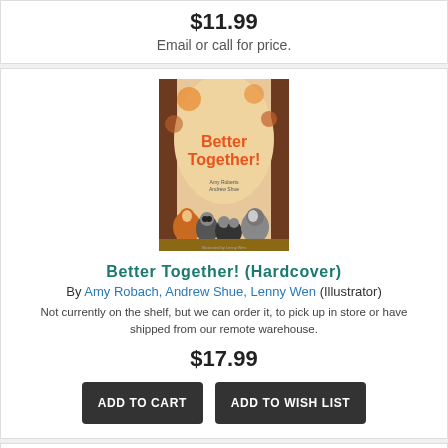$11.99
Email or call for price.
[Figure (illustration): Book cover for 'Better Together!' showing cartoon animals (fox, raccoon, squirrel) around a tree on an autumn-themed background with orange title text]
Better Together! (Hardcover)
By Amy Robach, Andrew Shue, Lenny Wen (Illustrator)
Not currently on the shelf, but we can order it, to pick up in store or have shipped from our remote warehouse.
$17.99
ADD TO CART
ADD TO WISH LIST
[Figure (illustration): Partial book cover for 'Scaredy Squirrel Visits the Doctor' by Melanie Watt, showing blue background with title in a rectangular frame and squirrel character partially visible]